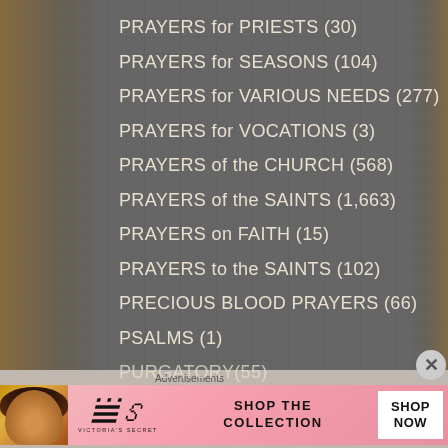PRAYERS for PRIESTS (30)
PRAYERS for SEASONS (104)
PRAYERS for VARIOUS NEEDS (277)
PRAYERS for VOCATIONS (3)
PRAYERS of the CHURCH (568)
PRAYERS of the SAINTS (1,663)
PRAYERS on FAITH (15)
PRAYERS to the SAINTS (102)
PRECIOUS BLOOD PRAYERS (66)
PSALMS (1)
PURGATORY(55)
[Figure (photo): Advertisement banner for Victoria's Secret featuring a woman and pink background with 'SHOP THE COLLECTION' text and 'SHOP NOW' button]
Advertisements